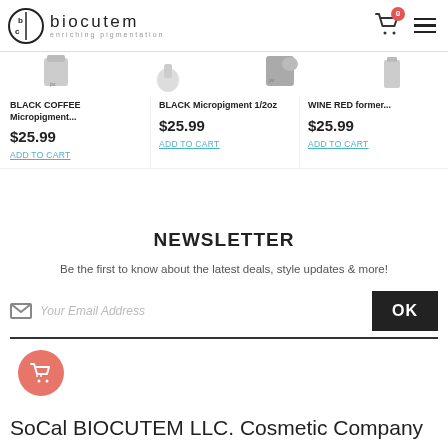[Figure (screenshot): Biocutem e-commerce website screenshot showing logo, navigation, products, newsletter signup, and footer]
biocutem - enriching pigmentation
BLACK COFFEE Micropigment...
$25.99
ADD TO CART
BLACK Micropigment 1/2oz
$25.99
ADD TO CART
WINE RED former...
$25.99
ADD TO CART
NEWSLETTER
Be the first to know about the latest deals, style updates & more!
Your Email Address
OK
SoCal BIOCUTEM LLC. Cosmetic Company